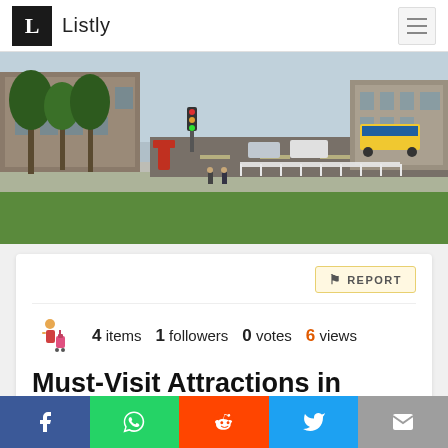Listly
[Figure (photo): City street photo showing an urban park with trees, grass, historical stone buildings, buses and cars on the road, and a wide pedestrian walkway in Adelaide, Australia]
REPORT
4 items  1 followers  0 votes  6 views
Must-Visit Attractions in Adelaide - R beauty
Open in App
Social share bar: Facebook, WhatsApp, Reddit, Twitter, Email